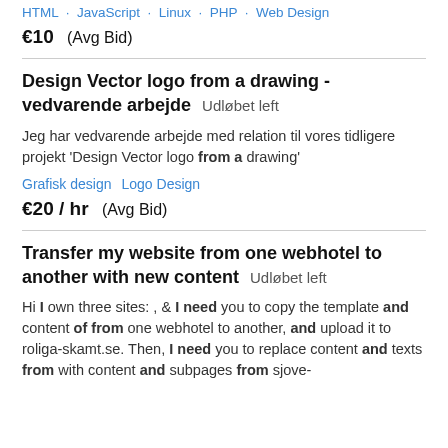HTML · JavaScript · Linux · PHP · Web Design
€10  (Avg Bid)
Design Vector logo from a drawing - vedvarende arbejde  Udløbet left
Jeg har vedvarende arbejde med relation til vores tidligere projekt 'Design Vector logo from a drawing'
Grafisk design   Logo Design
€20 / hr  (Avg Bid)
Transfer my website from one webhotel to another with new content  Udløbet left
Hi I own three sites: , & I need you to copy the template and content of from one webhotel to another, and upload it to roliga-skamt.se. Then, I need you to replace content and texts from with content and subpages from sjove-